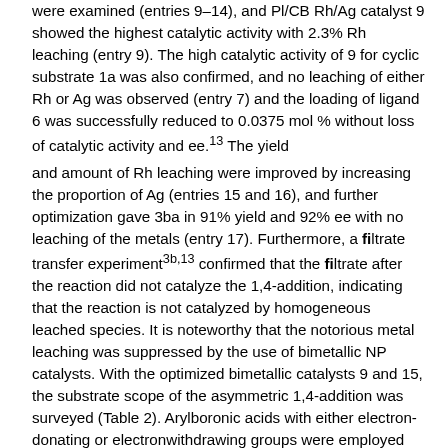were examined (entries 9–14), and Pl/CB Rh/Ag catalyst 9 showed the highest catalytic activity with 2.3% Rh leaching (entry 9). The high catalytic activity of 9 for cyclic substrate 1a was also confirmed, and no leaching of either Rh or Ag was observed (entry 7) and the loading of ligand 6 was successfully reduced to 0.0375 mol % without loss of catalytic activity and ee.13 The yield
and amount of Rh leaching were improved by increasing the proportion of Ag (entries 15 and 16), and further optimization gave 3ba in 91% yield and 92% ee with no leaching of the metals (entry 17). Furthermore, a filtrate transfer experiment3b,13 confirmed that the filtrate after the reaction did not catalyze the 1,4-addition, indicating that the reaction is not catalyzed by homogeneous leached species. It is noteworthy that the notorious metal leaching was suppressed by the use of bimetallic NP catalysts. With the optimized bimetallic catalysts 9 and 15, the substrate scope of the asymmetric 1,4-addition was surveyed (Table 2). Arylboronic acids with either electron-donating or electronwithdrawing groups were employed for the reaction with 1a under the optimized conditions, and in all cases the desired 1,4addition products were obtained in high yields with excellent ee (entries 2–4, 7, 8, and 10–12). No leaching of Rh occurred in any cases. Arylboronic acids with substituent groups at the ortho, meta, and para positions also provided the desired products in high yields with excellent ee without leaching of Rh